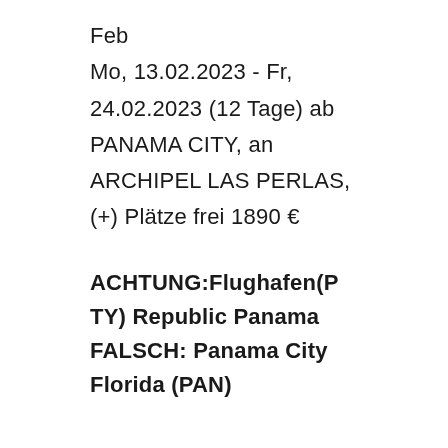Feb
Mo, 13.02.2023 - Fr, 24.02.2023 (12 Tage) ab PANAMA CITY, an ARCHIPEL LAS PERLAS, (+) Plätze frei 1890 €
ACHTUNG:Flughafen(PTY) Republic Panama FALSCH: Panama City Florida (PAN)